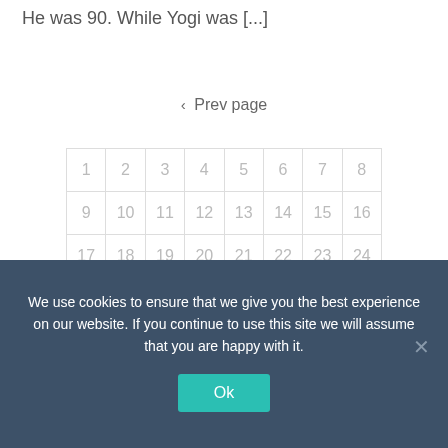He was 90. While Yogi was [...]
‹ Prev page
| 1 | 2 | 3 | 4 | 5 | 6 | 7 | 8 |
| 9 | 10 | 11 | 12 | 13 | 14 | 15 | 16 |
| 17 | 18 | 19 | 20 | 21 | 22 | 23 | 24 |
| 25 | 26 | 27 | 28 | 29 | 30 | 31 | 32 |
| 33 | 34 | 35 | 36 | 37 | 38 | 39 | 40 |
We use cookies to ensure that we give you the best experience on our website. If you continue to use this site we will assume that you are happy with it.